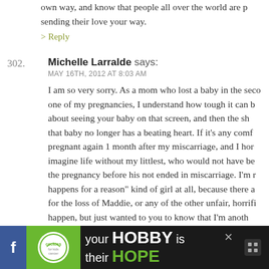through the day, when I went back to work, and your own way, and know that people all over the world are sending their love your way.
> Reply
302. Michelle Larralde says: MAY 16TH, 2012 AT 8:03 AM
I am so very sorry. As a mom who lost a baby in the second one of my pregnancies, I understand how tough it can be about seeing your baby on that screen, and then the showing that baby no longer has a beating heart. If it’s any comfort, pregnant again 1 month after my miscarriage, and I hon imagine life without my littlest, who would not have be the pregnancy before his not ended in miscarriage. I’m happens for a reason” kind of girl at all, because there a for the loss of Maddie, or any of the other unfair, horrifi happen, but just wanted to you to know that I’m anoth lost a pregnancy, and then went on to (immediately) ha healthy, full term pregnancy which resulted in a healthy
[Figure (screenshot): Advertisement banner at bottom of page for 'Cookies for Kids Cancer' with text 'your HOBBY is their HOPE' on dark background with green branding, alongside social media icons]